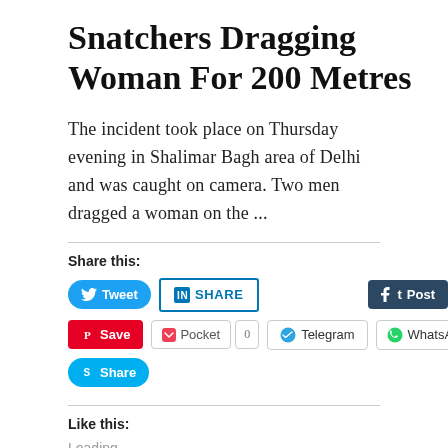Snatchers Dragging Woman For 200 Metres
The incident took place on Thursday evening in Shalimar Bagh area of Delhi and was caught on camera. Two men dragged a woman on the ...
Share this:
Tweet   SHARE   Post   Save   Pocket  0  Telegram  WhatsApp  Share
Like this:
Loading...